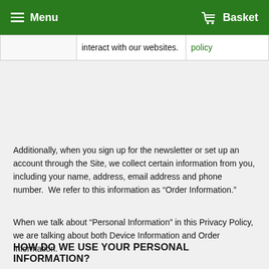Menu   Basket
|  | interact with our websites. | policy |
Additionally, when you sign up for the newsletter or set up an account through the Site, we collect certain information from you, including your name, address, email address and phone number.  We refer to this information as “Order Information.”
When we talk about “Personal Information” in this Privacy Policy, we are talking about both Device Information and Order Information.
HOW DO WE USE YOUR PERSONAL INFORMATION?